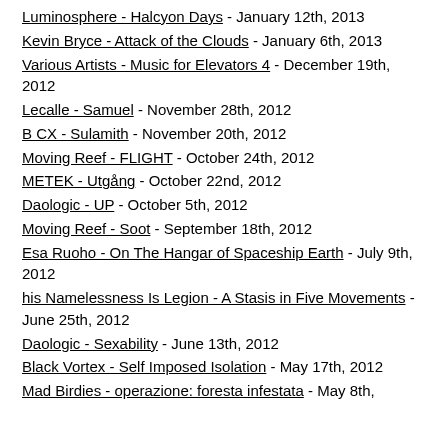Luminosphere - Halcyon Days - January 12th, 2013
Kevin Bryce - Attack of the Clouds - January 6th, 2013
Various Artists - Music for Elevators 4 - December 19th, 2012
Lecalle - Samuel - November 28th, 2012
B CX - Sulamith - November 20th, 2012
Moving Reef - FLIGHT - October 24th, 2012
METEK - Utgång - October 22nd, 2012
Daologic - UP - October 5th, 2012
Moving Reef - Soot - September 18th, 2012
Esa Ruoho - On The Hangar of Spaceship Earth - July 9th, 2012
his Namelessness Is Legion - A Stasis in Five Movements - June 25th, 2012
Daologic - Sexability - June 13th, 2012
Black Vortex - Self Imposed Isolation - May 17th, 2012
Mad Birdies - operazione: foresta infestata - May 8th,